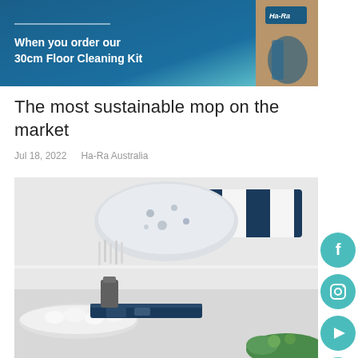[Figure (photo): Ha-Ra banner advertisement showing '30cm Floor Cleaning Kit' text on a blue gradient background with product imagery on the right side]
The most sustainable mop on the market
Jul 18, 2022   Ha-Ra Australia
[Figure (photo): Close-up photo of Ha-Ra mop heads and cleaning accessories including white fluffy mop pad, navy blue and white striped mop covers, and green cleaning cloths on a white surface]